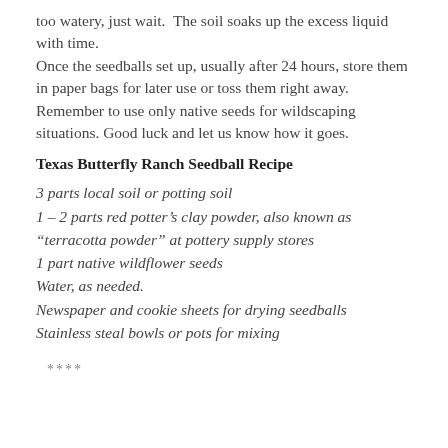too watery, just wait.  The soil soaks up the excess liquid with time.
Once the seedballs set up, usually after 24 hours, store them in paper bags for later use or toss them right away.  Remember to use only native seeds for wildscaping situations. Good luck and let us know how it goes.
Texas Butterfly Ranch Seedball Recipe
3 parts local soil or potting soil
1 – 2 parts red potter’s clay powder, also known as “terracotta powder” at pottery supply stores
1 part native wildflower seeds
Water, as needed.
Newspaper and cookie sheets for drying seedballs
Stainless steal bowls or pots for mixing
****